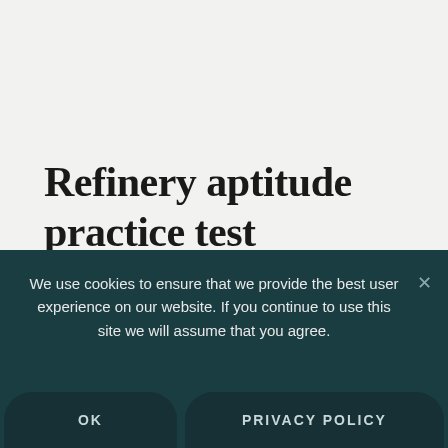Refinery aptitude practice test
Figuring out what you need to study and how
We use cookies to ensure that we provide the best user experience on our website. If you continue to use this site we will assume that you agree.
OK
PRIVACY POLICY